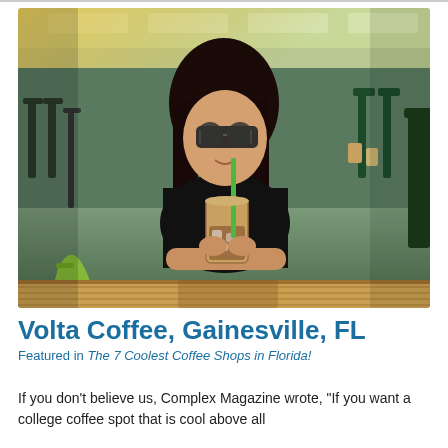[Figure (photo): A young woman with dark hair and sunglasses sitting at an outdoor wooden table at a coffee shop, drinking an iced coffee with a green straw. She is wearing a black top. The background shows chairs and tables of an outdoor cafe with green accents and warm sunlight.]
Volta Coffee, Gainesville, FL
Featured in The 7 Coolest Coffee Shops in Florida!
If you don't believe us, Complex Magazine wrote, "If you want a college coffee spot that is cool above all